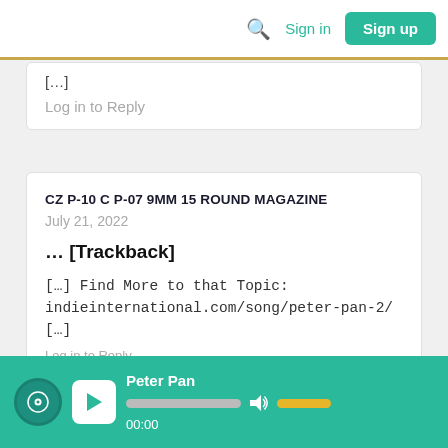Search | Sign in | Sign up
[...]
Log in to Reply
CZ P-10 C P-07 9MM 15 ROUND MAGAZINE
July 21, 2022
... [Trackback]
[...] Find More to that Topic: indieinternational.com/song/peter-pan-2/ [...]
[Figure (screenshot): Audio player bar showing Peter Pan track, play button, progress bar, volume control, timestamp 00:00]